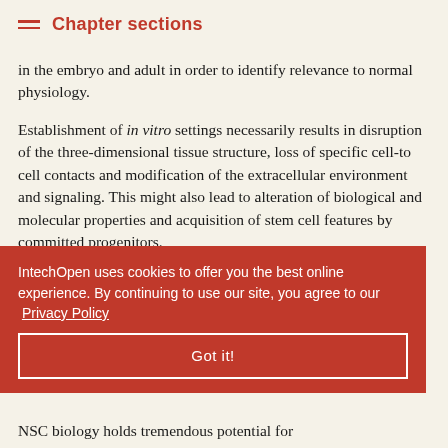Chapter sections
in the embryo and adult in order to identify relevance to normal physiology.
Establishment of in vitro settings necessarily results in disruption of the three-dimensional tissue structure, loss of specific cell-to cell contacts and modification of the extracellular environment and signaling. This might also lead to alteration of biological and molecular properties and acquisition of stem cell features by committed progenitors.
NSC cultures ge, extreme the potential ology.
IntechOpen uses cookies to offer you the best online experience. By continuing to use our site, you agree to our Privacy Policy
Got it!
NSC biology holds tremendous potential for